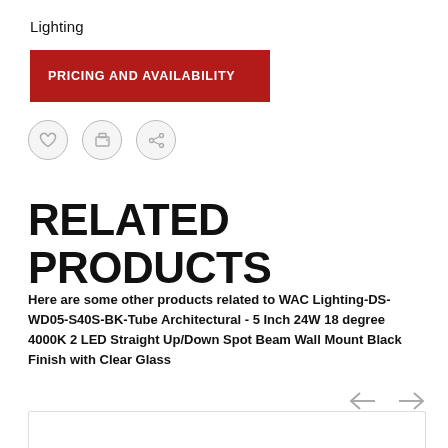Lighting
PRICING AND AVAILABILITY
[Figure (other): Three circular icon buttons: heart/favorite, print, and share]
RELATED PRODUCTS
Here are some other products related to WAC Lighting-DS-WD05-S40S-BK-Tube Architectural - 5 Inch 24W 18 degree 4000K 2 LED Straight Up/Down Spot Beam Wall Mount Black Finish with Clear Glass
[Figure (other): Left and right navigation arrows for carousel]